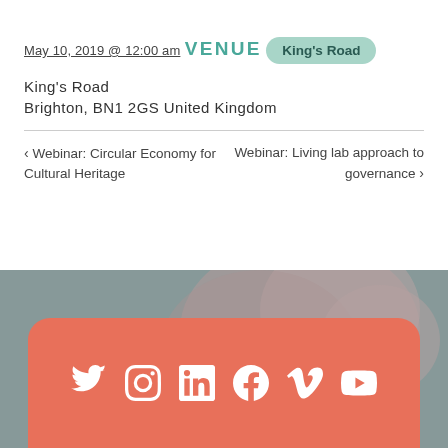May 10, 2019 @ 12:00 am
VENUE
King's Road
King's Road
Brighton, BN1 2GS United Kingdom
< Webinar: Circular Economy for Cultural Heritage
Webinar: Living lab approach to governance >
[Figure (infographic): Footer section with blurred pink/grey background and salmon-colored rounded card containing social media icons: Twitter, Instagram, LinkedIn, Facebook, Vimeo, YouTube]